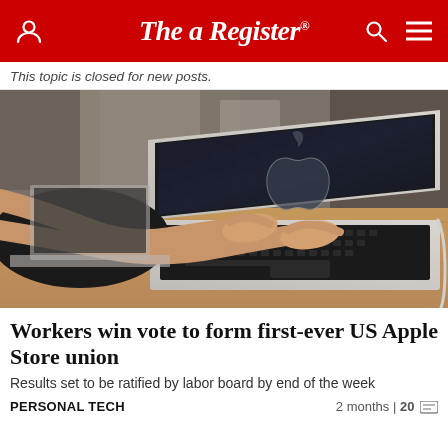The Register
This topic is closed for new posts.
[Figure (photo): Person typing on a MacBook laptop on a wooden table in an Apple Store, with Apple logo visible on the screen]
Workers win vote to form first-ever US Apple Store union
Results set to be ratified by labor board by end of the week
PERSONAL TECH    2 months | 20